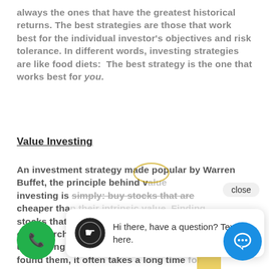always the ones that have the greatest historical returns. The best strategies are those that work best for the individual investor's objectives and risk tolerance. In different words, investing strategies are like food diets:  The best strategy is the one that works best for you.
Value Investing
An investment strategy made popular by Warren Buffet, the principle behind value investing is simply: buy stocks that are cheaper than their intrinsic value. Finding stocks that fit this criteria requires a lot of research and understanding of the underlying company. And even after you've found them, it often takes a long time for the price to rise. This buy and hold technique requires a patient investor. Should the right call be made, handsome payoffs could be earned.